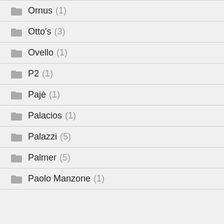Ornus (1)
Otto's (3)
Ovello (1)
P2 (1)
Pajè (1)
Palacios (1)
Palazzi (5)
Palmer (5)
Paolo Manzone (1)